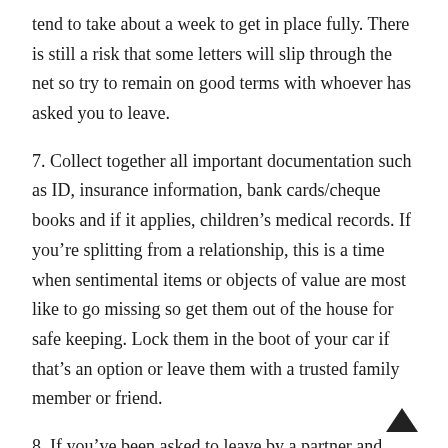tend to take about a week to get in place fully. There is still a risk that some letters will slip through the net so try to remain on good terms with whoever has asked you to leave.
7. Collect together all important documentation such as ID, insurance information, bank cards/cheque books and if it applies, children's medical records. If you're splitting from a relationship, this is a time when sentimental items or objects of value are most like to go missing so get them out of the house for safe keeping. Lock them in the boot of your car if that's an option or leave them with a trusted family member or friend.
8. If you've been asked to leave by a partner and have joint bank accounts, cancel any overdraft facility. However, consider the impact of letting your bank know that you're splitting though as they may opt to freeze your accounts and this could cause some